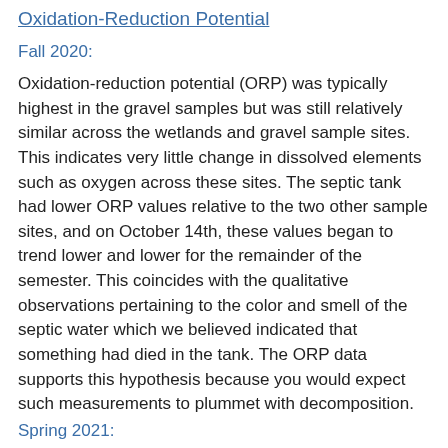Oxidation-Reduction Potential
Fall 2020:
Oxidation-reduction potential (ORP) was typically highest in the gravel samples but was still relatively similar across the wetlands and gravel sample sites. This indicates very little change in dissolved elements such as oxygen across these sites. The septic tank had lower ORP values relative to the two other sample sites, and on October 14th, these values began to trend lower and lower for the remainder of the semester. This coincides with the qualitative observations pertaining to the color and smell of the septic water which we believed indicated that something had died in the tank. The ORP data supports this hypothesis because you would expect such measurements to plummet with decomposition.
Spring 2021:
Due to malfunctions with the probe, we are no longer taking ORP data from the samples.
Chloride